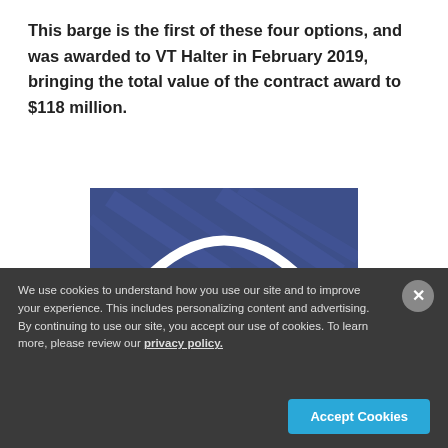This barge is the first of these four options, and was awarded to VT Halter in February 2019, bringing the total value of the contract award to $118 million.
[Figure (logo): Infra-Metals company logo on blue/navy background with white arch and bold white text reading INFRA-METALS]
We use cookies to understand how you use our site and to improve your experience. This includes personalizing content and advertising. By continuing to use our site, you accept our use of cookies. To learn more, please review our privacy policy.